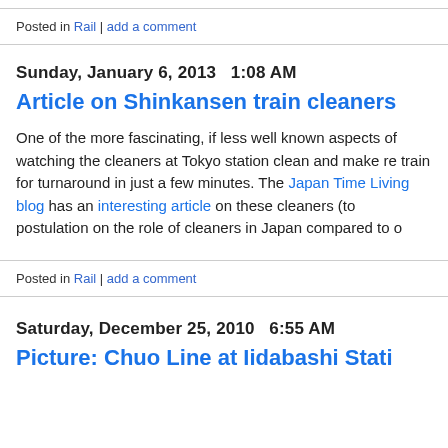Posted in Rail | add a comment
Sunday, January 6, 2013   1:08 AM
Article on Shinkansen train cleaners
One of the more fascinating, if less well known aspects of watching the cleaners at Tokyo station clean and make re train for turnaround in just a few minutes. The Japan Times Living blog has an interesting article on these cleaners (to postulation on the role of cleaners in Japan compared to o
Posted in Rail | add a comment
Saturday, December 25, 2010   6:55 AM
Picture: Chuo Line at Iidabashi Stati